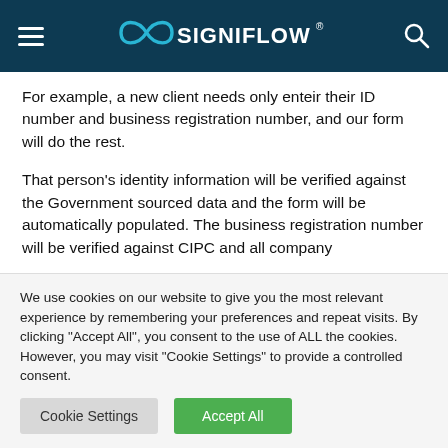SigniFlow
For example, a new client needs only enteir their ID number and business registration number, and our form will do the rest.
That person's identity information will be verified against the Government sourced data and the form will be automatically populated. The business registration number will be verified against CIPC and all company
We use cookies on our website to give you the most relevant experience by remembering your preferences and repeat visits. By clicking "Accept All", you consent to the use of ALL the cookies. However, you may visit "Cookie Settings" to provide a controlled consent.